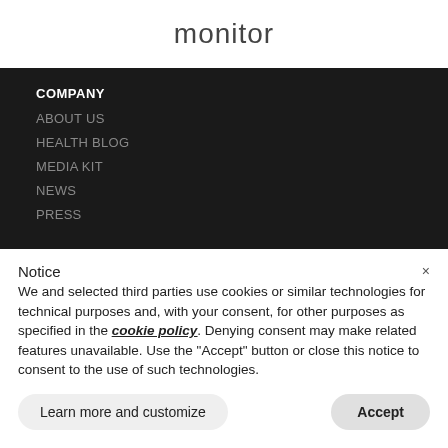monitor
COMPANY
ABOUT US
HEALTH BLOG
MEDIA KIT
NEWS
PRESS
Notice
We and selected third parties use cookies or similar technologies for technical purposes and, with your consent, for other purposes as specified in the cookie policy. Denying consent may make related features unavailable. Use the "Accept" button or close this notice to consent to the use of such technologies.
Learn more and customize
Accept